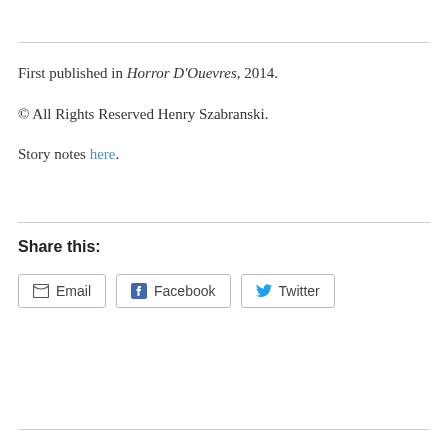First published in Horror D'Ouevres, 2014.
© All Rights Reserved Henry Szabranski.
Story notes here.
Share this:
[Figure (other): Social sharing buttons: Email, Facebook, Twitter]